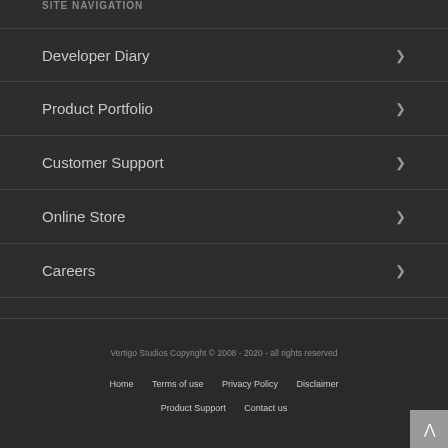SITE NAVIGATION
Developer Diary
Product Portfolio
Customer Support
Online Store
Careers
Vertigo Studios Copyright © 2008 - 2020 - all rights reserved
Home   Terms of use   Privacy Policy   Disclaimer   Product Support   Contact us